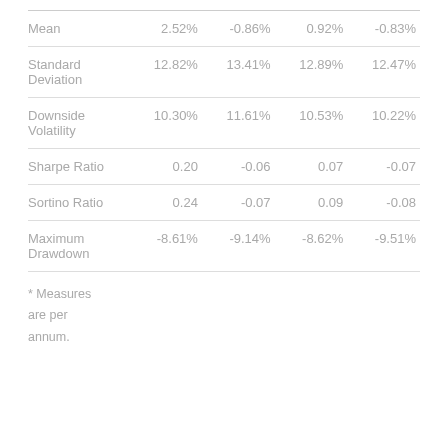|  |  |  |  |  |
| --- | --- | --- | --- | --- |
| Mean | 2.52% | -0.86% | 0.92% | -0.83% |
| Standard Deviation | 12.82% | 13.41% | 12.89% | 12.47% |
| Downside Volatility | 10.30% | 11.61% | 10.53% | 10.22% |
| Sharpe Ratio | 0.20 | -0.06 | 0.07 | -0.07 |
| Sortino Ratio | 0.24 | -0.07 | 0.09 | -0.08 |
| Maximum Drawdown | -8.61% | -9.14% | -8.62% | -9.51% |
* Measures are per annum.